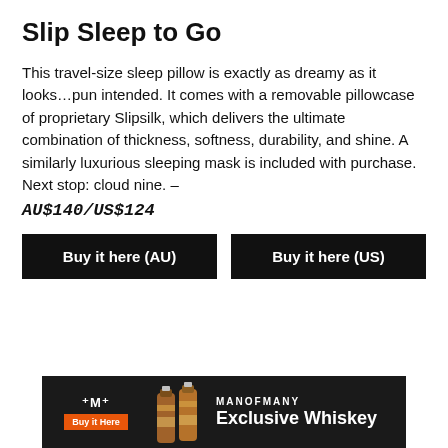Slip Sleep to Go
This travel-size sleep pillow is exactly as dreamy as it looks...pun intended. It comes with a removable pillowcase of proprietary Slipsilk, which delivers the ultimate combination of thickness, softness, durability, and shine. A similarly luxurious sleeping mask is included with purchase. Next stop: cloud nine. – AU$140/US$124
Buy it here (AU)
Buy it here (US)
[Figure (infographic): Man of Many advertisement banner showing two whiskey bottles, a logo with an M symbol, an orange 'Buy it Here' button, and text reading 'MANOFMANY Exclusive Whiskey' on a dark background.]